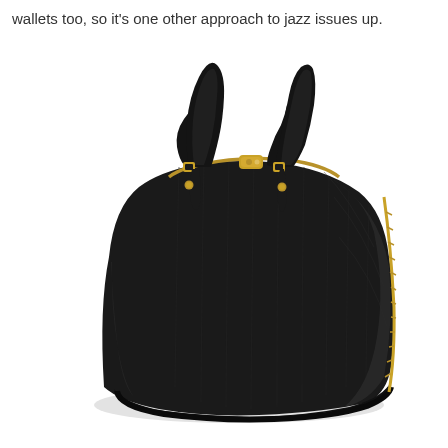wallets too, so it's one other approach to jazz issues up.
[Figure (photo): A black epi leather structured handbag (Louis Vuitton Alma style) with dual top handles, gold-tone hardware including a clasp and zipper on the side, viewed from a three-quarter angle against a white background.]